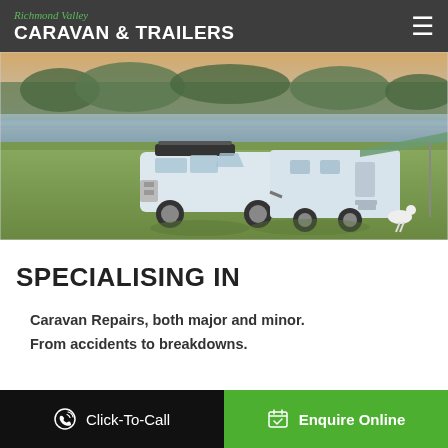Richmond Valley CARAVAN & TRAILERS
[Figure (photo): A 4WD vehicle towing a caravan parked beside a river or lake at sunset, on grassy ground. A small white dog is visible in the background.]
SPECIALISING IN
Caravan Repairs, both major and minor.
From accidents to breakdowns.
Click-To-Call   Enquire Online